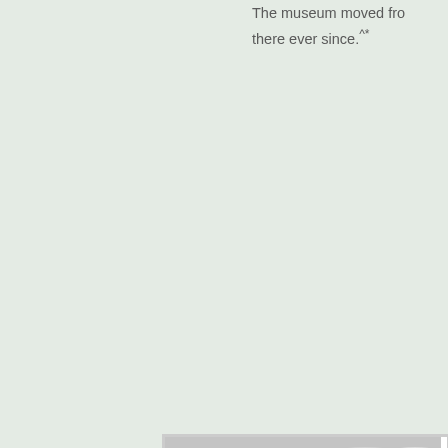The museum moved fro... there ever since.^*
[Figure (photo): Black and white photograph showing trees (appears to be pine or similar large trees) with a cloudy sky in the background, partially cropped at the right edge of the page.]